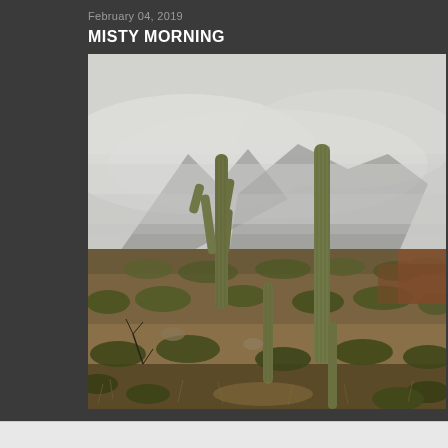February 04, 2019
MISTY MORNING
[Figure (photo): Desert landscape on a misty morning. Multiple tall saguaro cacti stand in the foreground amid dry desert scrubland with olive-green shrubs. Behind them, rugged mountain peaks are partially obscured by thick low clouds and mist. The sky is overcast and grey. The ground is covered in dry grasses and brush in muted brown and olive tones.]